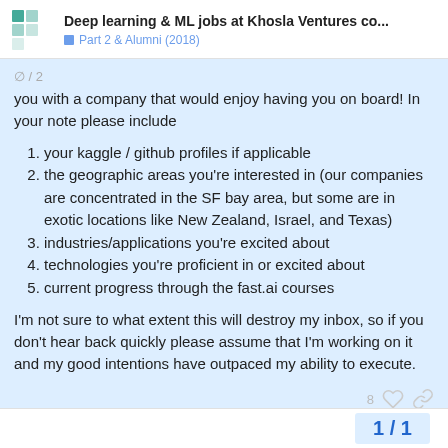Deep learning & ML jobs at Khosla Ventures co... Part 2 & Alumni (2018)
you with a company that would enjoy having you on board! In your note please include
your kaggle / github profiles if applicable
the geographic areas you're interested in (our companies are concentrated in the SF bay area, but some are in exotic locations like New Zealand, Israel, and Texas)
industries/applications you're excited about
technologies you're proficient in or excited about
current progress through the fast.ai courses
I'm not sure to what extent this will destroy my inbox, so if you don't hear back quickly please assume that I'm working on it and my good intentions have outpaced my ability to execute.
1 / 1